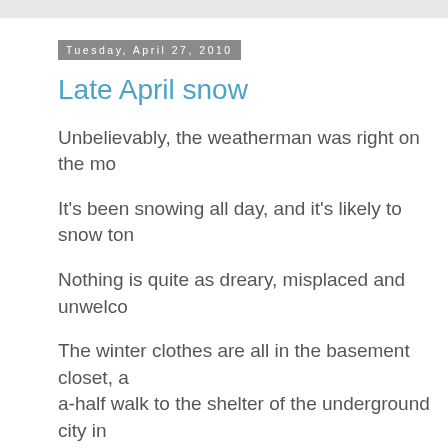Tuesday, April 27, 2010
Late April snow
Unbelievably, the weatherman was right on the mo
It's been snowing all day, and it's likely to snow ton
Nothing is quite as dreary, misplaced and unwelco
The winter clothes are all in the basement closet, a a-half walk to the shelter of the underground city in blustery snow with my little umbrella.
The scoot commute seems a distant unattainable g way.